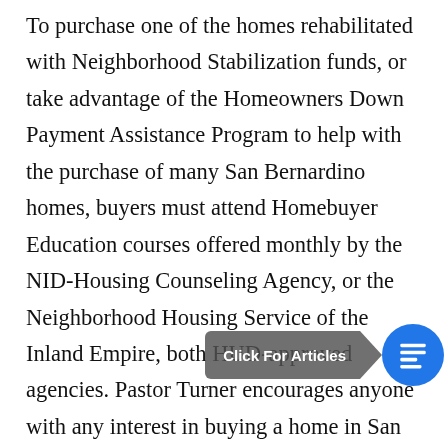To purchase one of the homes rehabilitated with Neighborhood Stabilization funds, or take advantage of the Homeowners Down Payment Assistance Program to help with the purchase of many San Bernardino homes, buyers must attend Homebuyer Education courses offered monthly by the NID-Housing Counseling Agency, or the Neighborhood Housing Service of the Inland Empire, both HUD-approved agencies. Pastor Turner encourages anyone with any interest in buying a home in San Bernardino to sign up for at least the introductory session of the Homebuyer Education courses, even if they think they wouldn't qualify to buy a home.